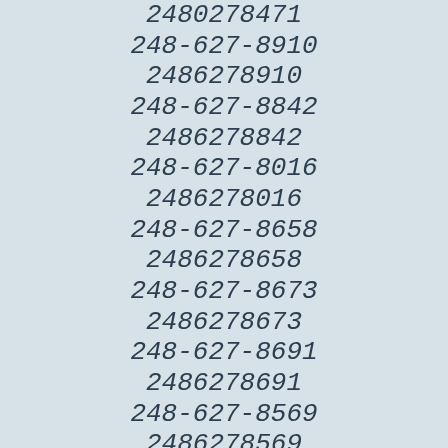2480278471
248-627-8910
2486278910
248-627-8842
2486278842
248-627-8016
2486278016
248-627-8658
2486278658
248-627-8673
2486278673
248-627-8691
2486278691
248-627-8569
2486278569
248-627-8260